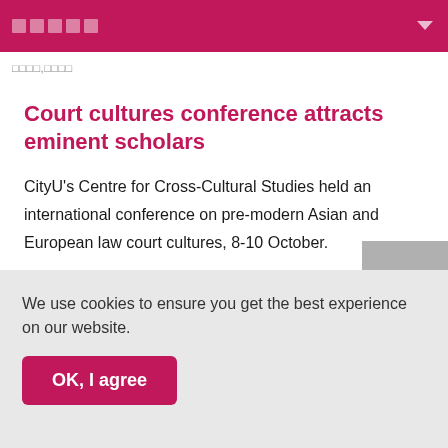□□□□□
□□□□,□□□□
Court cultures conference attracts eminent scholars
CityU's Centre for Cross-Cultural Studies held an international conference on pre-modern Asian and European law court cultures, 8-10 October.
We use cookies to ensure you get the best experience on our website.
OK, I agree